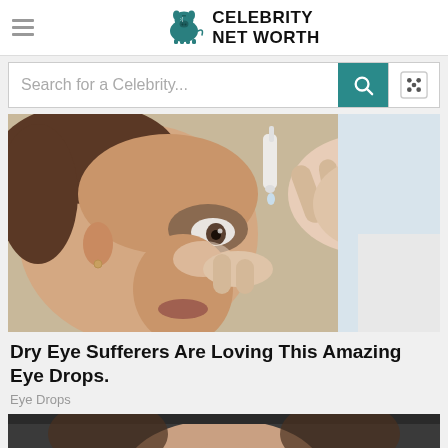Celebrity Net Worth
Search for a Celebrity...
[Figure (photo): Woman receiving eye drops from a doctor/nurse; close-up photo]
Dry Eye Sufferers Are Loving This Amazing Eye Drops.
Eye Drops
[Figure (photo): Partial view of a person (woman) from the shoulders up, dark background at top]